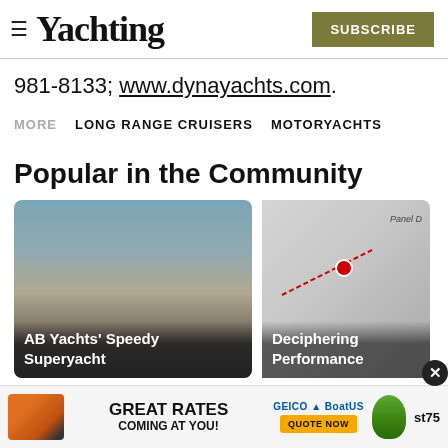Yachting | SUBSCRIBE
981-8133; www.dynayachts.com.
MORE  LONG RANGE CRUISERS  MOTORYACHTS
Popular in the Community
[Figure (photo): Card image of a boat on flat water with sandy shore — AB Yachts' Speedy Superyacht]
[Figure (photo): Card image with chart/map showing a performance graph — Deciphering Performance]
[Figure (photo): Advertisement banner: GREAT RATES COMING AT YOU! GEICO BoatUS QUOTE NOW, with gecko mascot and boat image]